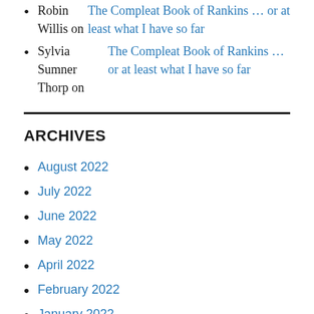Robin Willis on The Compleat Book of Rankins … or at least what I have so far
Sylvia Sumner Thorp on The Compleat Book of Rankins … or at least what I have so far
ARCHIVES
August 2022
July 2022
June 2022
May 2022
April 2022
February 2022
January 2022
December 2021